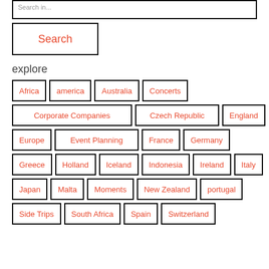Search in...
Search
explore
Africa
america
Australia
Concerts
Corporate Companies
Czech Republic
England
Europe
Event Planning
France
Germany
Greece
Holland
Iceland
Indonesia
Ireland
Italy
Japan
Malta
Moments
New Zealand
portugal
Side Trips
South Africa
Spain
Switzerland